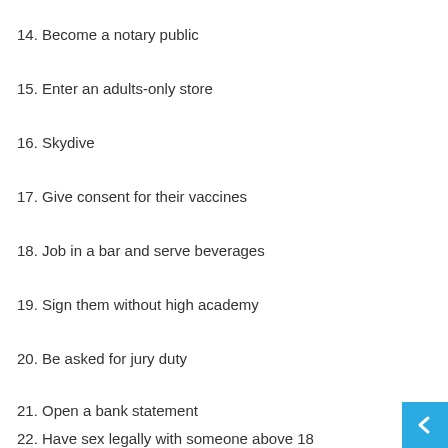14. Become a notary public
15. Enter an adults-only store
16. Skydive
17. Give consent for their vaccines
18. Job in a bar and serve beverages
19. Sign them without high academy
20. Be asked for jury duty
21. Open a bank statement
22. Have sex legally with someone above 18